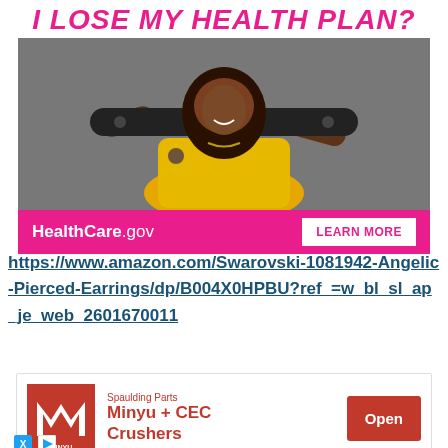[Figure (photo): HealthCare.gov advertisement banner with pink title text 'I LOSE MY HEALTH PLAN?', photo of a smiling woman in yellow shirt holding a skateboard, and a pink bar at bottom with HealthCare.gov logo and 'LEARN MORE' button]
https://www.amazon.com/Swarovski-1081942-Angelic-Pierced-Earrings/dp/B004X0HPBU?ref_=w_bl_sl_ap_je_web_2601670011
[Figure (other): Minyu + CEC Crushers advertisement with red Minyu logo, Spaulding Parts text, 'Minyu + CEC Crushers' in red text, and an 'Open' button in red]